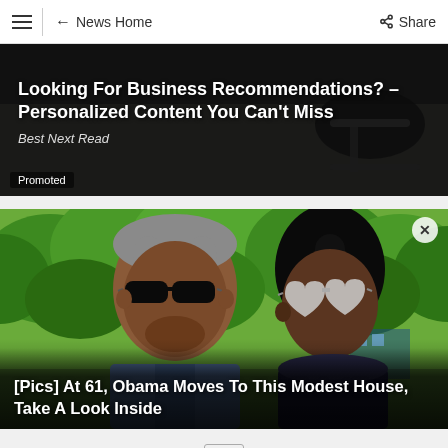≡  ← News Home  Share
[Figure (photo): Advertisement banner with dark background showing office chair, text: 'Looking For Business Recommendations? – Personalized Content You Can't Miss', subtitle: 'Best Next Read', label: 'Promoted']
[Figure (photo): Photo of two people wearing sunglasses outdoors with green trees in background. Text overlay at bottom: '[Pics] At 61, Obama Moves To This Modest House, Take A Look Inside']
Ad